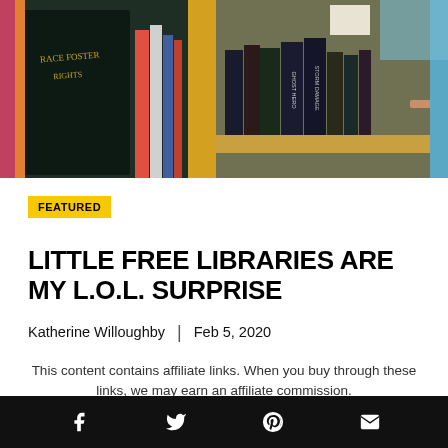[Figure (photo): A little free library box with books on a shelf inside, wooden frame with yellow/gold trim, viewed at an angle. Books visible include 'Storm Damage' and 'Ghost Hero'. Close-up photo with teal/blue sky in background.]
FEATURED
LITTLE FREE LIBRARIES ARE MY L.O.L. SURPRISE
Katherine Willoughby | Feb 5, 2020
This content contains affiliate links. When you buy through these links, we may earn an affiliate commission.
Facebook | Twitter | Pinterest | Email